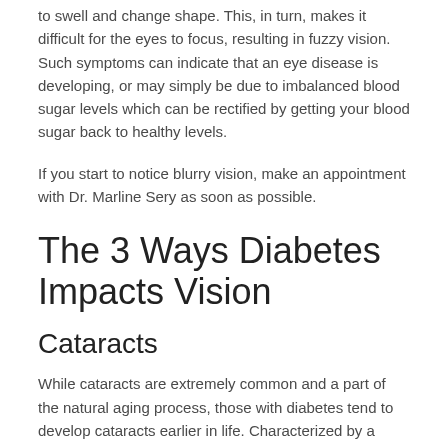to swell and change shape. This, in turn, makes it difficult for the eyes to focus, resulting in fuzzy vision. Such symptoms can indicate that an eye disease is developing, or may simply be due to imbalanced blood sugar levels which can be rectified by getting your blood sugar back to healthy levels.
If you start to notice blurry vision, make an appointment with Dr. Marline Sery as soon as possible.
The 3 Ways Diabetes Impacts Vision
Cataracts
While cataracts are extremely common and a part of the natural aging process, those with diabetes tend to develop cataracts earlier in life. Characterized by a clouding or fogging of the lens within the eye, cataracts impede light from entering the eye, causing blurred vision and glares. The best